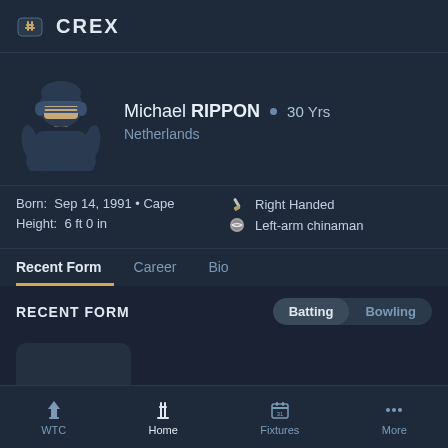CREX
[Figure (illustration): Cricket player avatar with helmet and gloves, illustrated style]
Michael RIPPON • 30 Yrs
Netherlands
Born: Sep 14, 1991 • Cape  Height: 6 ft 0 in
Right Handed  Left-arm chinaman
Recent Form  Career  Bio
RECENT FORM
Batting  Bowling